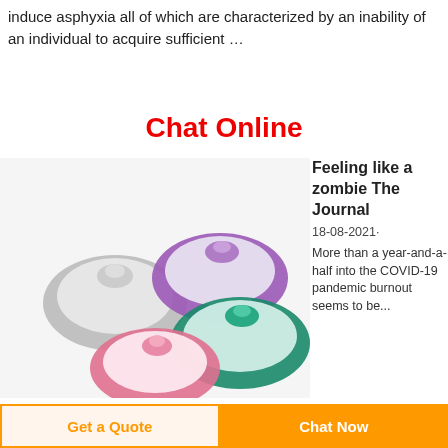induce asphyxia all of which are characterized by an inability of an individual to acquire sufficient …
Chat Online
[Figure (photo): Four colorful oxygen/anesthesia face masks with transparent bodies and colored rims: gray, purple, pink, and teal/green, arranged on a white background.]
Feeling like a zombie The Journal
18-08-2021·
More than a year-and-a-half into the COVID-19 pandemic burnout seems to be...
Get a Quote
Chat Now